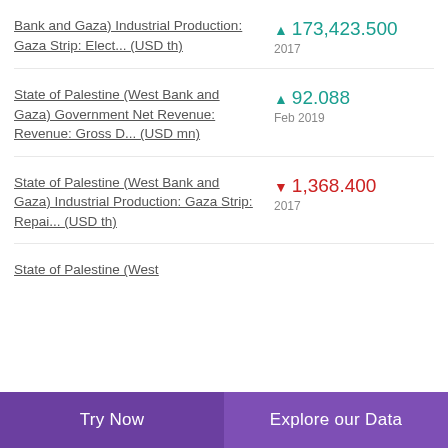State of Palestine (West Bank and Gaza) Industrial Production: Gaza Strip: Elect... (USD th) ▲ 173,423.500 2017
State of Palestine (West Bank and Gaza) Government Net Revenue: Revenue: Gross D... (USD mn) ▲ 92.088 Feb 2019
State of Palestine (West Bank and Gaza) Industrial Production: Gaza Strip: Repai... (USD th) ▼ 1,368.400 2017
State of Palestine (West
Try Now    Explore our Data